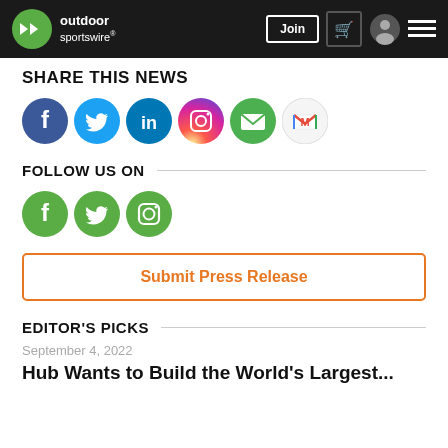[Figure (logo): Outdoor Sportswire logo with green circle containing white arrows and text 'outdoor sportswire']
SHARE THIS NEWS
[Figure (infographic): Social share icons: Facebook, Twitter, LinkedIn, Instagram, Email, Gmail]
FOLLOW US ON
[Figure (infographic): Follow us social icons: Facebook, Twitter, Instagram (all green)]
Submit Press Release
EDITOR'S PICKS
September 4, 2022
Hub Wants to Build the World's Largest...